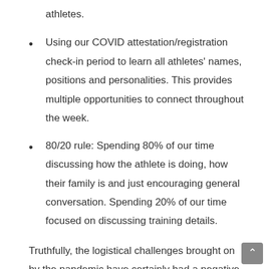athletes.
Using our COVID attestation/registration check-in period to learn all athletes' names, positions and personalities. This provides multiple opportunities to connect throughout the week.
80/20 rule: Spending 80% of our time discussing how the athlete is doing, how their family is and just encouraging general conversation. Spending 20% of our time focused on discussing training details.
Truthfully, the logistical challenges brought on by the pandemic have certainly had a negative impact on our ability to coach, provide effective services and support our athletes.  Representing the lighthouse in the storm, I have been reminded during this past two years of the